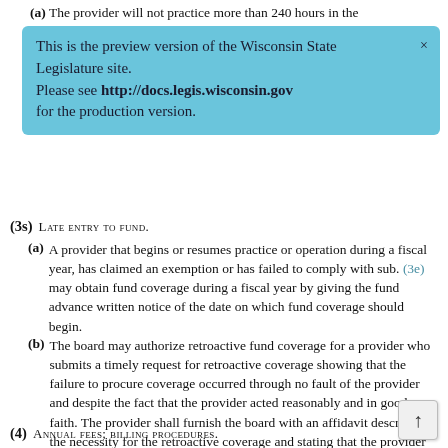(a) The provider will not practice more than 240 hours in the
[Figure (screenshot): Blue banner notification: 'This is the preview version of the Wisconsin State Legislature site. Please see http://docs.legis.wisconsin.gov for the production version.' with a close X button.]
(3s) Late entry to fund.
(a) A provider that begins or resumes practice or operation during a fiscal year, has claimed an exemption or has failed to comply with sub. (3e) may obtain fund coverage during a fiscal year by giving the fund advance written notice of the date on which fund coverage should begin.
(b) The board may authorize retroactive fund coverage for a provider who submits a timely request for retroactive coverage showing that the failure to procure coverage occurred through no fault of the provider and despite the fact that the provider acted reasonably and in good faith. The provider shall furnish the board with an affidavit describing the necessity for the retroactive coverage and stating that the provider has no notice of any pending claim alleging malpractice or knowledge of a threatened claim or of any occurrence that might give rise to such a claim. The authorization shall be in writing, specifying the effective date of fund coverage.
(4) Annual fees; billing procedures.